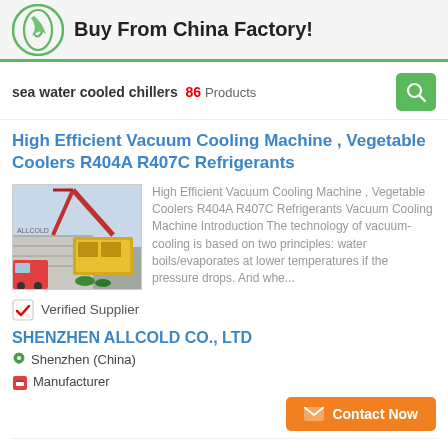Buy From China Factory!
sea water cooled chillers  86  Products
High Efficient Vacuum Cooling Machine , Vegetable Coolers R404A R407C Refrigerants
[Figure (photo): Industrial yellow machine being lifted by crane outdoors near a building]
High Efficient Vacuum Cooling Machine , Vegetable Coolers R404A R407C Refrigerants Vacuum Cooling Machine Introduction The technology of vacuum-cooling is based on two principles: water boils/evaporates at lower temperatures if the pressure drops. And whe...
Verified Supplier
SHENZHEN ALLCOLD CO., LTD
Shenzhen (China)
Manufacturer
380V Heat Recovery Exchanger For Air Cooled And Water...